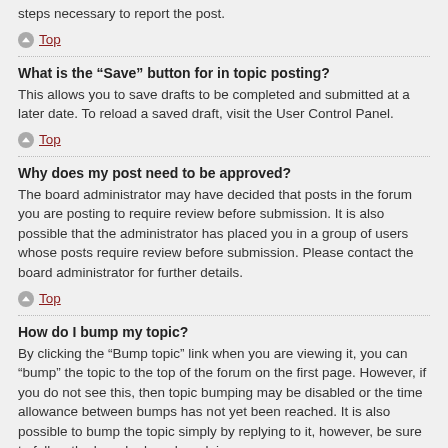steps necessary to report the post.
Top
What is the “Save” button for in topic posting?
This allows you to save drafts to be completed and submitted at a later date. To reload a saved draft, visit the User Control Panel.
Top
Why does my post need to be approved?
The board administrator may have decided that posts in the forum you are posting to require review before submission. It is also possible that the administrator has placed you in a group of users whose posts require review before submission. Please contact the board administrator for further details.
Top
How do I bump my topic?
By clicking the “Bump topic” link when you are viewing it, you can “bump” the topic to the top of the forum on the first page. However, if you do not see this, then topic bumping may be disabled or the time allowance between bumps has not yet been reached. It is also possible to bump the topic simply by replying to it, however, be sure to follow the board rules when doing so.